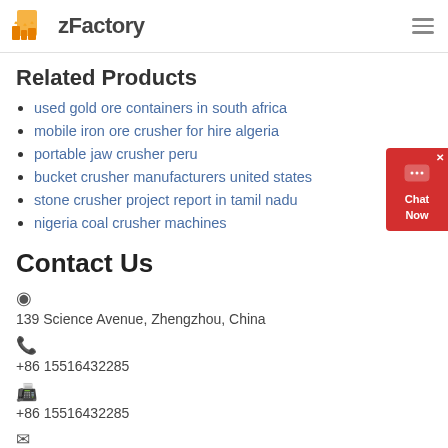zFactory
Related Products
used gold ore containers in south africa
mobile iron ore crusher for hire algeria
portable jaw crusher peru
bucket crusher manufacturers united states
stone crusher project report in tamil nadu
nigeria coal crusher machines
Contact Us
139 Science Avenue, Zhengzhou, China
+86 15516432285
+86 15516432285